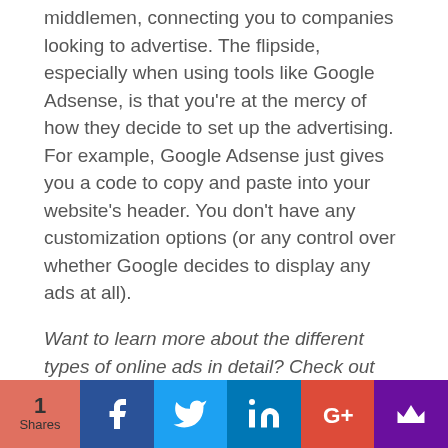middlemen, connecting you to companies looking to advertise. The flipside, especially when using tools like Google Adsense, is that you're at the mercy of how they decide to set up the advertising. For example, Google Adsense just gives you a code to copy and paste into your website's header. You don't have any customization options (or any control over whether Google decides to display any ads at all).
Want to learn more about the different types of online ads in detail? Check out our Online Ads 101 blog post series!
[Figure (infographic): Social share bar at the bottom: shows '1 Shares' on a salmon/pink background, followed by social media share buttons for Facebook (dark blue), Twitter (light blue), LinkedIn (dark blue), Google+ (red/orange), and a crown icon (purple).]